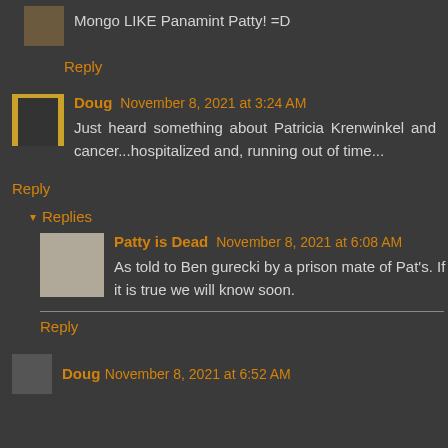Mongo LIKE Panamint Patty! =D
Reply
Doug November 8, 2021 at 3:24 AM
Just heard something about Patricia Krenwinkel and cancer...hospitalized and, running out of time...
Reply
Replies
Patty is Dead November 8, 2021 at 6:08 AM
As told to Ben gurecki by a prison mate of Pat's. If it is true we will know soon.
Reply
Doug November 8, 2021 at 6:52 AM